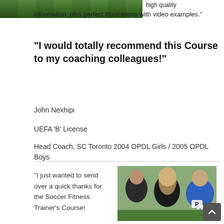[Figure (photo): Grass/soccer field background image strip at top of page]
high quality information, plus perfect illustrations with video examples."
“I would totally recommend this Course to my coaching colleagues!”
John Nexhipi
UEFA ‘B’ License
Head Coach, SC Toronto 2004 OPDL Girls / 2005 OPDL Boys
[Figure (photo): Three young female soccer players smiling, wearing black jackets with R logo and blue jersey with number 10]
“I just wanted to send over a quick thanks for the Soccer Fitness Trainer’s Course!